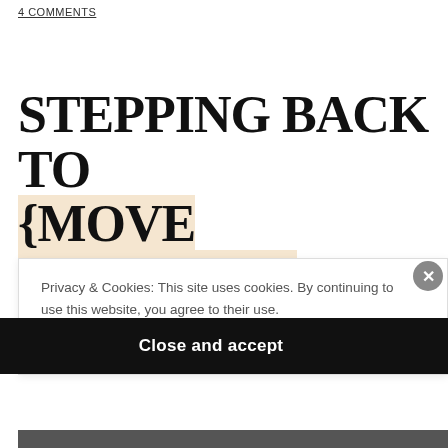4 COMMENTS
STEPPING BACK TO {MOVE FORWARD}
[Figure (photo): Partial photo of a person against a blue-grey sky background, partially obscured by cookie consent overlay]
Privacy & Cookies: This site uses cookies. By continuing to use this website, you agree to their use.
To find out more, including how to control cookies, see here: Cookie Policy
Close and accept